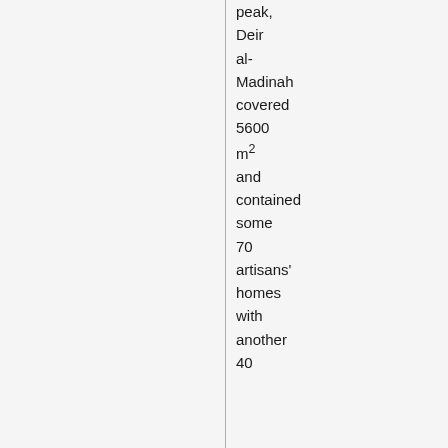peak, Deir al-Madinah covered 5600 m² and contained some 70 artisans' homes with another 40